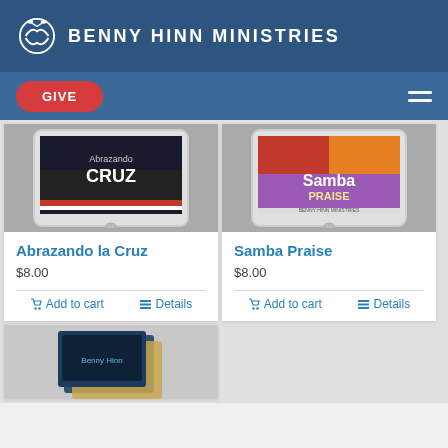BENNY HINN MINISTRIES
GIVE
[Figure (photo): Tablet showing book cover 'Abrazando la Cruz' by Benny Hinn]
Abrazando la Cruz
$8.00
Add to cart
Details
[Figure (photo): Tablet showing 'Samba Praise' album cover by Benny Hinn Ministries]
Samba Praise
$8.00
Add to cart
Details
[Figure (photo): Partial view of a third product showing stacked books/tablets]